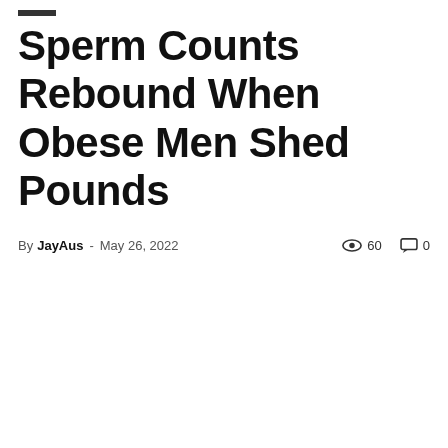Sperm Counts Rebound When Obese Men Shed Pounds
By JayAus - May 26, 2022  60  0